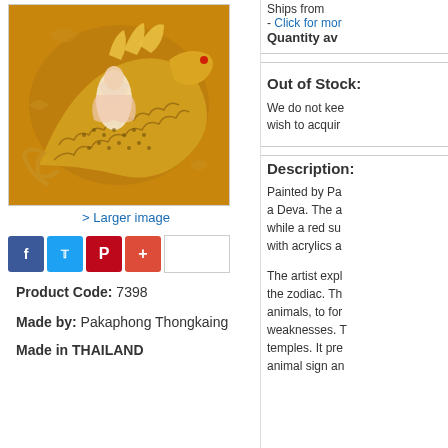[Figure (photo): Thai traditional painting of a golden dragon/Naga creature with decorative swirling patterns on an orange-gold background, with a white/pink Deva figure]
> Larger image
[Figure (other): Social sharing buttons: Facebook, Twitter, Pinterest, Plus, and a text input field]
Product Code: 7398
Made by: Pakaphong Thongkaing
Made in THAILAND
Ships from
- Click for more
Quantity av
Out of Stock:
We do not kee wish to acquir
Description:
Painted by Pa a Deva. The a while a red su with acrylics a
The artist expl the zodiac. Th animals, to for weaknesses. T temples. It pre animal sign an